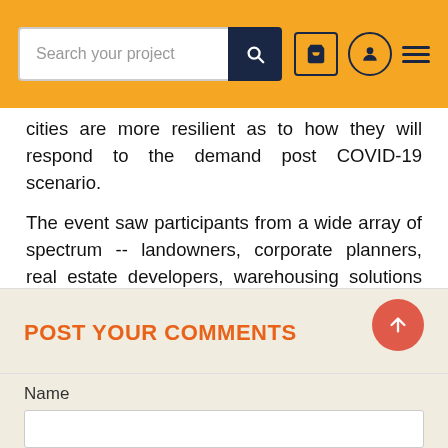Search your project [search button] [cart icon] [user icon] [menu icon]
cities are more resilient as to how they will respond to the demand post COVID-19 scenario.
The event saw participants from a wide array of spectrum -- landowners, corporate planners, real estate developers, warehousing solutions providers, logistics service providers, amongst others. The webinar was explored by business community for tapping their requirements -- JV partners, marketing warehouse/storage space, announcement of land availability for sale, requirement of land parcel and so on.
POST YOUR COMMENTS
Name